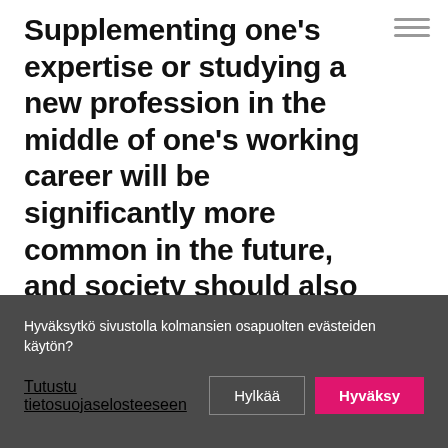Supplementing one’s expertise or studying a new profession in the middle of one’s working career will be significantly more common in the future, and society should also encourage it. Therefore, we need an education system that can offer degrees, parts of degrees and individual skills to anyone in all situations in life. Lifelong learning also
Hyväksytkö sivustolla kolmansien osapuolten evästeiden käytön?
Tutustu tietosuojaselosteeseen
Hylkää
Hyväksy